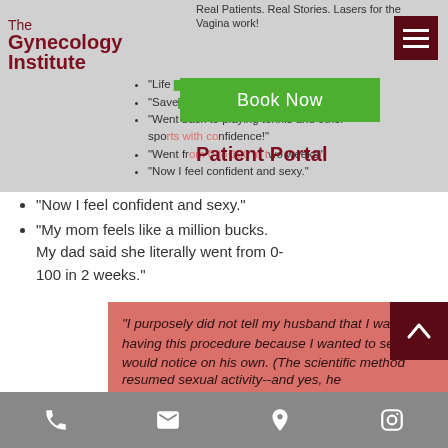Real Patients. Real Stories. Lasers for the Vagina work!
The Gynecology Institute
“Life [partially hidden]”
“Save[partially hidden]”
“Went back to playing tennis and other sports with confidence!”
“Went from 0 to 100 in two weeks”
“Now I feel confident and sexy.”
“My mom feels like a million bucks. My dad said she literally went from 0-100 in 2 weeks.”
"I purposely did not tell my husband that I was having this procedure because I wanted to see if he would notice on his own. (The scientific method demands at least one "blind" and completely objective participant!) I was advised to abstain
resumed sexual activity--and yes, he